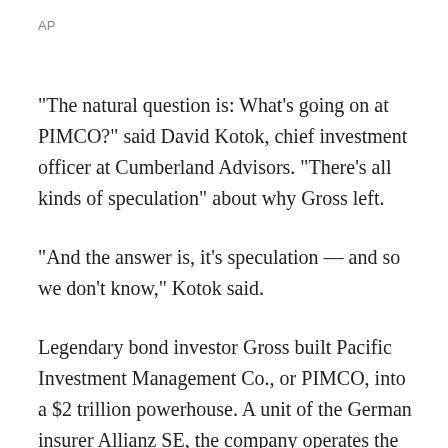AP
"The natural question is: What's going on at PIMCO?" said David Kotok, chief investment officer at Cumberland Advisors. "There's all kinds of speculation" about why Gross left.
"And the answer is, it's speculation — and so we don't know," Kotok said.
Legendary bond investor Gross built Pacific Investment Management Co., or PIMCO, into a $2 trillion powerhouse. A unit of the German insurer Allianz SE, the company operates the largest bond mutual fund in the world. Over the decades, millions of retirees with pension funds have had some portion of their money under Gross' care.